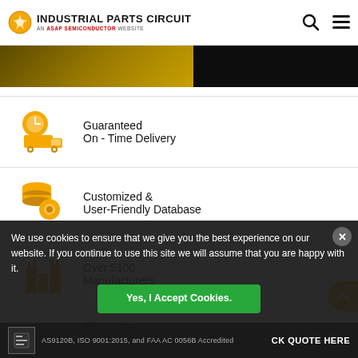INDUSTRIAL PARTS CIRCUIT — AN ASAP SEMICONDUCTOR WEBSITE
[Figure (photo): Hero banner image strip with dark gold/olive tone on left and black on right]
Guaranteed On - Time Delivery
Customized & User-Friendly Database
Over 5100 Manufacturers
Competitive Prices
We use cookies to ensure that we give you the best experience on our website. If you continue to use this site we will assume that you are happy with it.
Yes, I Accept Cookies.
AS9120B, ISO 9001:2015, and FAA AC 0056B Accredited — GET A QUICK QUOTE HERE